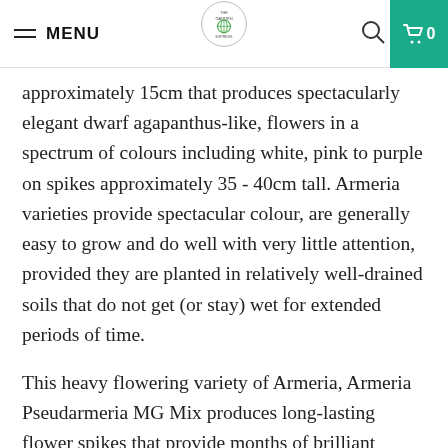MENU | [logo] | [search] | 0
approximately 15cm that produces spectacularly elegant dwarf agapanthus-like, flowers in a spectrum of colours including white, pink to purple on spikes approximately 35 - 40cm tall. Armeria varieties provide spectacular colour, are generally easy to grow and do well with very little attention, provided they are planted in relatively well-drained soils that do not get (or stay) wet for extended periods of time.
This heavy flowering variety of Armeria, Armeria Pseudarmeria MG Mix produces long-lasting flower spikes that provide months of brilliant colour and are suited perfectly for rockery gardens, pots, or neglected areas in cottage gardens. If planted with spacing under 30cm apart, Pseudarmeria MG Mix can also be used as an informal groundcover as the